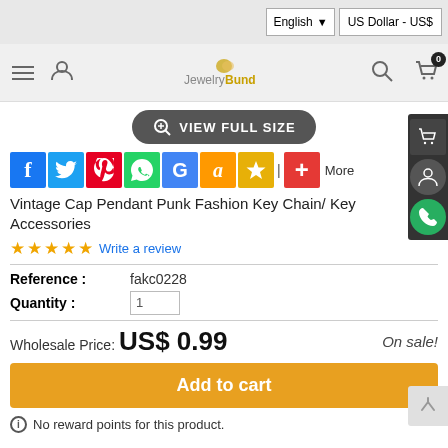English | US Dollar - US$
[Figure (logo): JewelryBund logo with navigation icons: hamburger menu, user icon, search icon, cart icon with 0 badge]
[Figure (other): VIEW FULL SIZE button with zoom icon]
[Figure (infographic): Social sharing icons: Facebook, Twitter, Pinterest, WhatsApp, Google, Amazon, Wish star, plus More]
Vintage Cap Pendant Punk Fashion Key Chain/ Key Accessories
Write a review
Reference : fakc0228
Quantity : 1
Wholesale Price: US$ 0.99   On sale!
Add to cart
No reward points for this product.